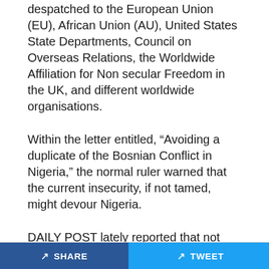despatched to the European Union (EU), African Union (AU), United States State Departments, Council on Overseas Relations, the Worldwide Affiliation for Non secular Freedom in the UK, and different worldwide organisations.
Within the letter entitled, “Avoiding a duplicate of the Bosnian Conflict in Nigeria,” the normal ruler warned that the current insecurity, if not tamed, might devour Nigeria.
DAILY POST lately reported that not less than 40 individuals, together with youngsters and girls, had been killed by yet-to-be-identified gunmen at St. Francis Catholic Church, Owo, Ondo State, earlier this month.
Additionally, about 80 others picked various levels of
SHARE   TWEET